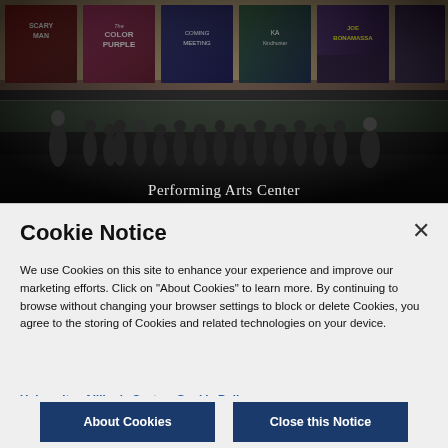[Figure (photo): Photo of a group of people gathered in the lobby of a Performing Arts Center. Movie/show posters visible along the curved upper wall. A presenter stands at left addressing the group. Text overlay reads 'Performing Arts Center'.]
Performing Arts Center
Cookie Notice
We use Cookies on this site to enhance your experience and improve our marketing efforts. Click on "About Cookies" to learn more. By continuing to browse without changing your browser settings to block or delete Cookies, you agree to the storing of Cookies and related technologies on your device.
University of Illinois System Cookie Policy